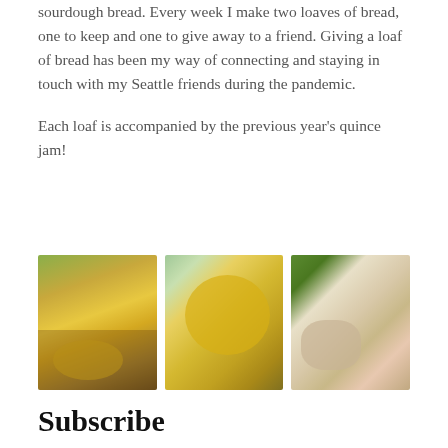sourdough bread. Every week I make two loaves of bread, one to keep and one to give away to a friend. Giving a loaf of bread has been my way of connecting and staying in touch with my Seattle friends during the pandemic.

Each loaf is accompanied by the previous year's quince jam!
[Figure (photo): Three photos side by side: left shows a person with yellow citrus fruits, center shows a bowl of quinces on a striped cloth, right shows bread loaves on a pink striped cloth.]
Subscribe